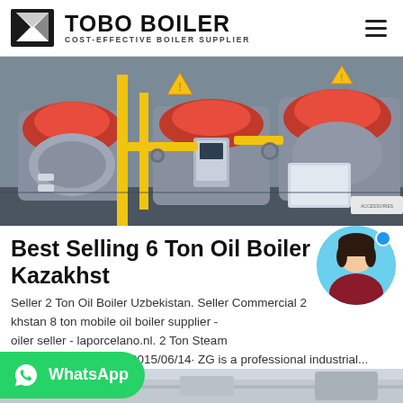TOBO BOILER — COST-EFFECTIVE BOILER SUPPLIER
[Figure (photo): Industrial boiler room with multiple red-burner gas boilers, yellow pipes, and control equipment]
Best Selling 6 Ton Oil Boiler Kazakhstan
Seller 2 Ton Oil Boiler Uzbekistan. Seller Commercial 2 ... Boiler ... khstan 8 ton mobile oil boiler supplier - oiler seller - laporcelano.nl. 2 Ton Steam And Hot Water Boiler. 2015/06/14· ZG is a professional industrial...
[Figure (photo): Bottom strip partial image of industrial equipment]